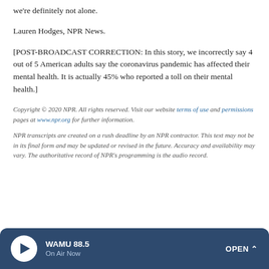we're definitely not alone.
Lauren Hodges, NPR News.
[POST-BROADCAST CORRECTION: In this story, we incorrectly say 4 out of 5 American adults say the coronavirus pandemic has affected their mental health. It is actually 45% who reported a toll on their mental health.]
Copyright © 2020 NPR. All rights reserved. Visit our website terms of use and permissions pages at www.npr.org for further information.
NPR transcripts are created on a rush deadline by an NPR contractor. This text may not be in its final form and may be updated or revised in the future. Accuracy and availability may vary. The authoritative record of NPR's programming is the audio record.
WAMU 88.5 On Air Now OPEN